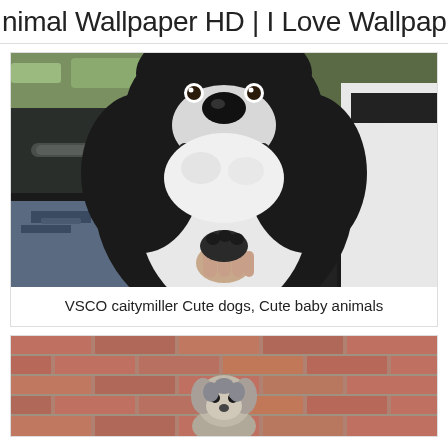nimal Wallpaper HD | I Love Wallpap
[Figure (photo): Black and white fluffy puppy sitting upright in a car back seat, held by a person wearing ripped jeans and a white shirt]
VSCO caitymiller Cute dogs, Cute baby animals
[Figure (photo): Small grey and white puppy sitting in front of a red brick wall]